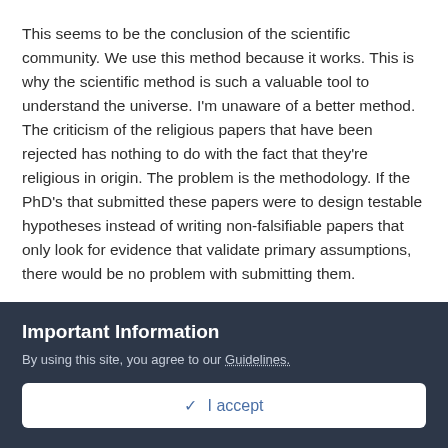This seems to be the conclusion of the scientific community. We use this method because it works. This is why the scientific method is such a valuable tool to understand the universe. I'm unaware of a better method. The criticism of the religious papers that have been rejected has nothing to do with the fact that they're religious in origin. The problem is the methodology. If the PhD's that submitted these papers were to design testable hypotheses instead of writing non-falsifiable papers that only look for evidence that validate primary assumptions, there would be no problem with submitting them.
With these arguments there's also a bit of playing the victim. These people submitting these papers have accepted these assumptions without evidence and they want us to accept them, too. They're upset that they can't get published in
Important Information
By using this site, you agree to our Guidelines.
✓  I accept